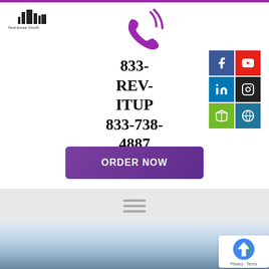[Figure (logo): Real Estate VizuAll logo with building silhouette icon]
[Figure (illustration): Purple phone/call icon with signal waves]
833-REV-ITUP 833-738-4887
[Figure (infographic): Social media icon buttons: Facebook (blue), YouTube (red), LinkedIn (blue), Instagram (dark), Houzz (green), WordPress (teal)]
[Figure (other): ORDER NOW purple button]
[Figure (other): Hamburger menu icon (three horizontal lines)]
[Figure (photo): Sky/horizon photo with blue sky and clouds]
[Figure (other): Google reCAPTCHA badge with Privacy - Terms text]